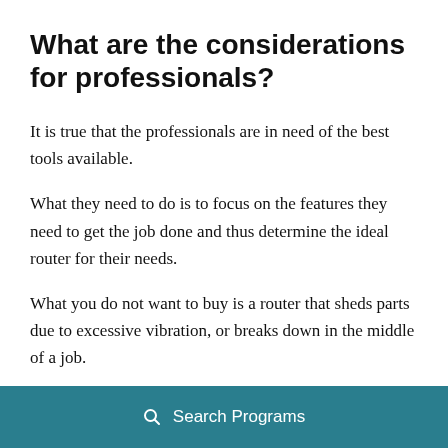What are the considerations for professionals?
It is true that the professionals are in need of the best tools available.
What they need to do is to focus on the features they need to get the job done and thus determine the ideal router for their needs.
What you do not want to buy is a router that sheds parts due to excessive vibration, or breaks down in the middle of a job.
Search Programs